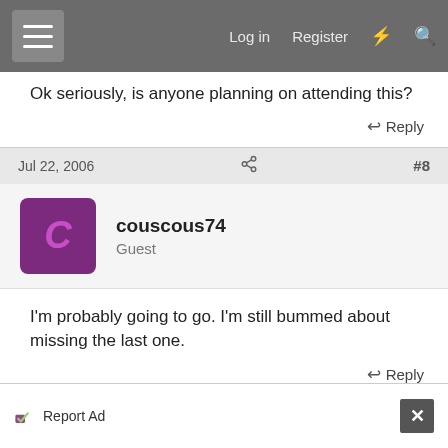Log in  Register
Ok seriously, is anyone planning on attending this?
Reply
Jul 22, 2006  #8
couscous74
Guest
I'm probably going to go. I'm still bummed about missing the last one.
Reply
Jul 22, 2006  #9
Report Ad